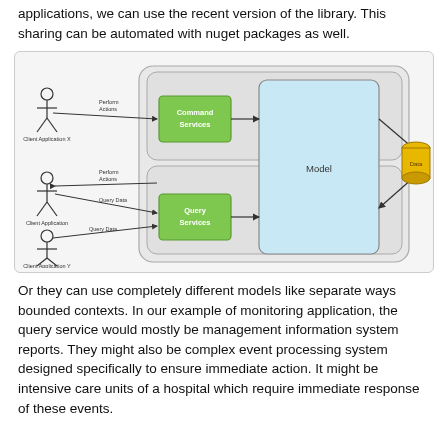applications, we can use the recent version of the library. This sharing can be automated with nuget packages as well.
[Figure (schematic): Architecture diagram showing Client Application X and Client Application (actors) sending commands via 'Perform Actions' arrows to Command Services (green box), which connects to a Model (light blue box). A third actor Client Application Y queries via Query Data arrows to Query Services (green box), which also connects to the Model. The Model connects to a Data store (yellow cylinder) on the right.]
Or they can use completely different models like separate ways bounded contexts. In our example of monitoring application, the query service would mostly be management information system reports. They might also be complex event processing system designed specifically to ensure immediate action. It might be intensive care units of a hospital which require immediate response of these events.